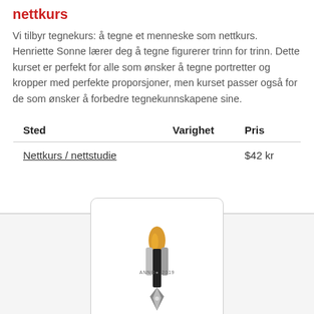nettkurs
Vi tilbyr tegnekurs: å tegne et menneske som nettkurs. Henriette Sonne lærer deg å tegne figurerer trinn for trinn. Dette kurset er perfekt for alle som ønsker å tegne portretter og kropper med perfekte proporsjoner, men kurset passer også for de som ønsker å forbedre tegnekunnskapene sine.
| Sted | Varighet | Pris |
| --- | --- | --- |
| Nettkurs / nettstudie |  | $42 kr |
[Figure (logo): Tegneskole.no logo: a pen nib with a flame/brush design, text ANNO 2019, and TEGNESKOLE.NO below]